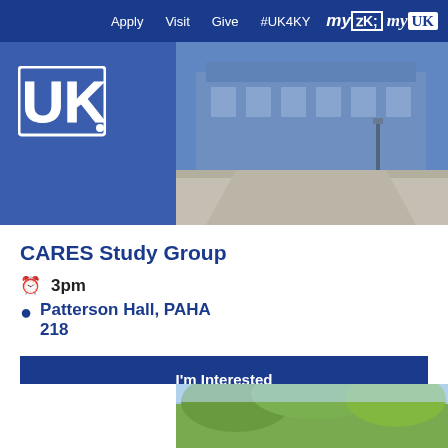Apply   Visit   Give   #UK4KY   myUK
[Figure (photo): University of Kentucky campus building photo with blue overlay, UK wildcat logo on left]
CARES Study Group
3pm
Patterson Hall, PAHA 218
I'm Interested
[Figure (photo): Partial outdoor campus photo showing trees against blue sky at bottom of page]